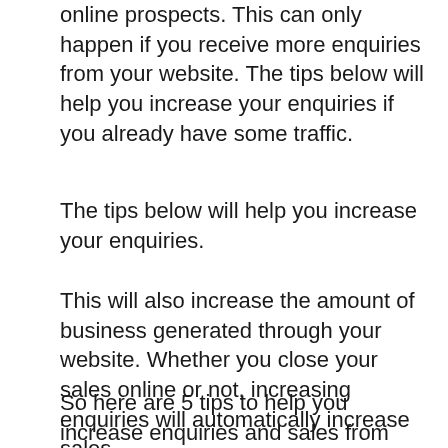online prospects. This can only happen if you receive more enquiries from your website. The tips below will help you increase your enquiries if you already have some traffic.
The tips below will help you increase your enquiries.
This will also increase the amount of business generated through your website. Whether you close your sales online or not, increasing enquiries will automatically increase sales.
So here are 5 tips to help you increase enquiries and sales from your website
1. Add Call to Action